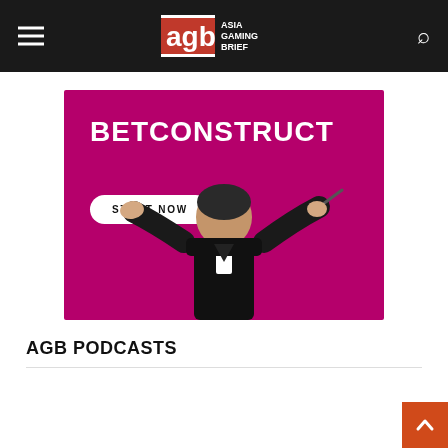AGB Asia Gaming Brief
[Figure (illustration): BetConstruct advertisement banner with magenta/purple background showing an orchestra conductor from behind in a black suit with arms raised. Text reads BETCONSTRUCT with a START NOW button.]
AGB PODCASTS